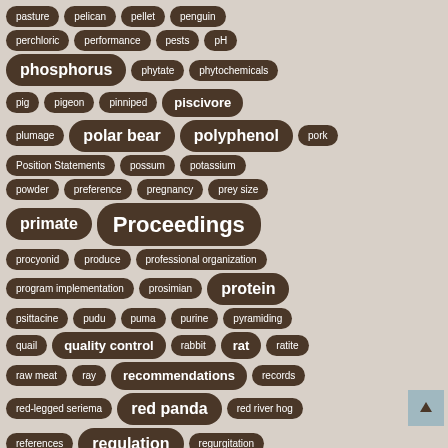[Figure (other): Tag cloud or keyword index from what appears to be a zoo nutrition or animal feeding resource, showing terms from 'pasture' through 'regurgitation' in various font sizes indicating frequency/importance. Terms include: pasture, pelican, pellet, penguin, perchloric, performance, pests, pH, phosphorus, phytate, phytochemicals, pig, pigeon, pinniped, piscivore, plumage, polar bear, polyphenol, pork, Position Statements, possum, potassium, powder, preference, pregnancy, prey size, primate, Proceedings, procyonid, produce, professional organization, program implementation, prosimian, protein, psittacine, pudu, puma, purine, pyramiding, quail, quality control, rabbit, rat, ratite, raw meat, ray, recommendations, records, red-legged seriema, red panda, red river hog, references, regulation, regurgitation]